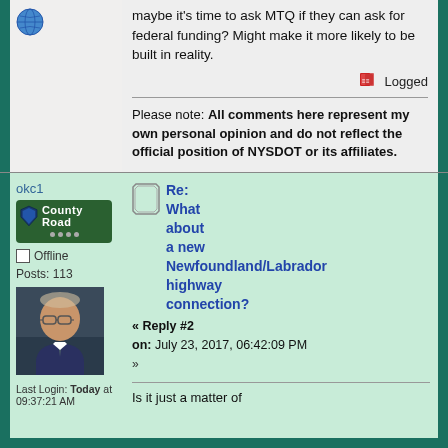[Figure (illustration): Globe icon in top-left user panel]
maybe it's time to ask MTQ if they can ask for federal funding?  Might make it more likely to be built in reality.
Logged
Please note: All comments here represent my own personal opinion and do not reflect the official position of NYSDOT or its affiliates.
okc1
[Figure (illustration): County Road rank badge with shield icon and four dots]
Offline
Posts: 113
[Figure (photo): Avatar photo of a middle-aged man with glasses wearing a suit and tie]
Last Login: Today at 09:37:21 AM
Re: What about a new Newfoundland/Labrador highway connection?
« Reply #2 on: July 23, 2017, 06:42:09 PM »
Is it just a matter of